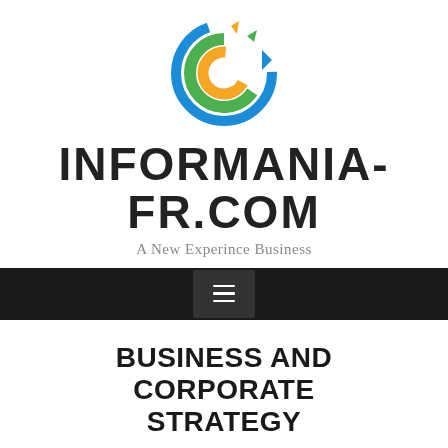[Figure (logo): Circular logo with blue, green and orange arrow swirls forming a globe shape]
INFORMANIA-FR.COM
A New Experince Business
[Figure (other): Black navigation bar with hamburger menu icon]
BUSINESS AND CORPORATE STRATEGY
Posted on 18/11/2020 by Author
🏠 / Business and Corporate Strategy